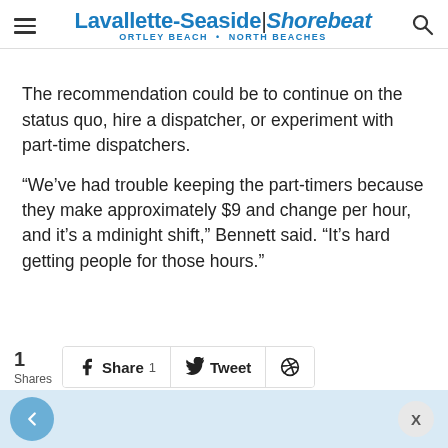Lavallette-Seaside | Shorebeat — ORTLEY BEACH • NORTH BEACHES
The recommendation could be to continue on the status quo, hire a dispatcher, or experiment with part-time dispatchers.
“We’ve had trouble keeping the part-timers because they make approximately $9 and change per hour, and it’s a mdinight shift,” Bennett said. “It’s hard getting people for those hours.”